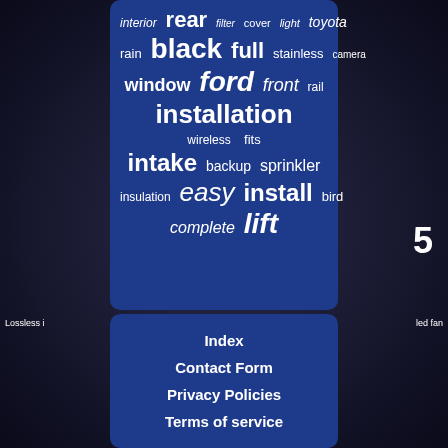[Figure (infographic): Tag cloud / word cloud on a dark blue rounded rectangle background showing automotive-related keywords in varying sizes: interior, rear, filter, cover, light, toyota, rain, black, full, stainless, camera, window, ford, front, rail, installation, wireless, fits, intake, backup, sprinkler, insulation, easy, install, bird, complete, lift]
Index
Contact Form
Privacy Policies
Terms of service